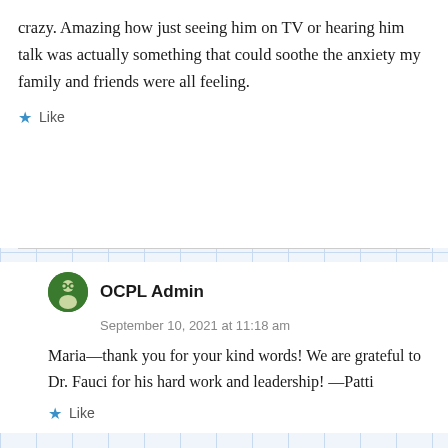crazy. Amazing how just seeing him on TV or hearing him talk was actually something that could soothe the anxiety my family and friends were all feeling.
Like
OCPL Admin
September 10, 2021 at 11:18 am
Maria—thank you for your kind words! We are grateful to Dr. Fauci for his hard work and leadership! —Patti
Like